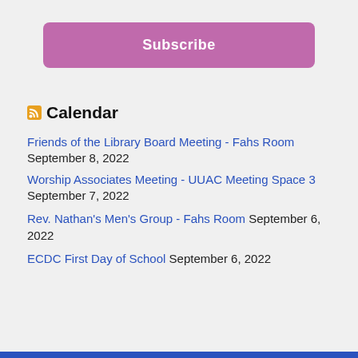[Figure (other): Purple Subscribe button]
Calendar
Friends of the Library Board Meeting - Fahs Room
September 8, 2022
Worship Associates Meeting - UUAC Meeting Space 3
September 7, 2022
Rev. Nathan's Men's Group - Fahs Room September 6, 2022
ECDC First Day of School September 6, 2022